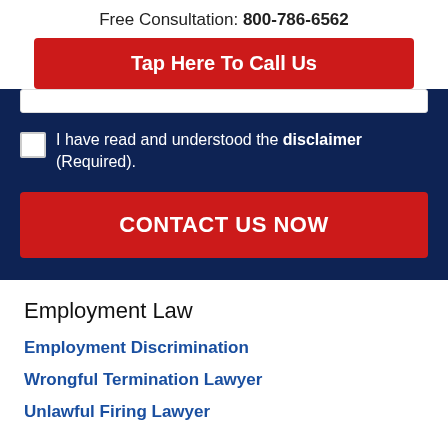Free Consultation: 800-786-6562
Tap Here To Call Us
I have read and understood the disclaimer (Required).
CONTACT US NOW
Employment Law
Employment Discrimination
Wrongful Termination Lawyer
Unlawful Firing Lawyer